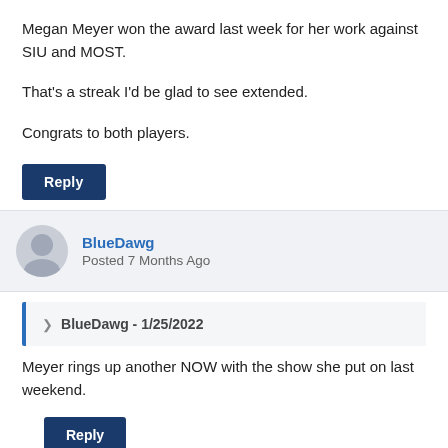Megan Meyer won the award last week for her work against SIU and MOST.
That's a streak I'd be glad to see extended.
Congrats to both players.
Reply
BlueDawg
Posted 7 Months Ago
> BlueDawg - 1/25/2022
Meyer rings up another NOW with the show she put on last weekend.